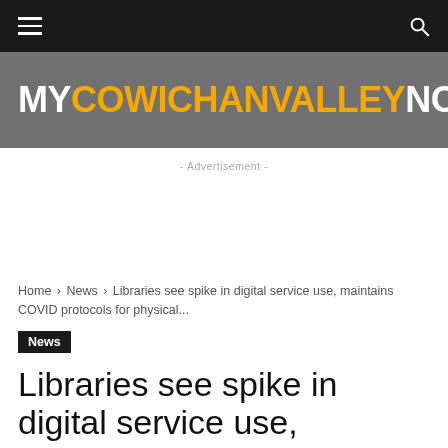MYCOWICHANVALLEYNOW
- Advertisement -
Home › News › Libraries see spike in digital service use, maintains COVID protocols for physical...
News
Libraries see spike in digital service use, maintains COVID